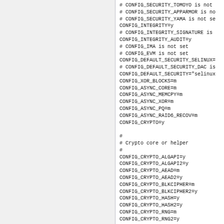# CONFIG_SECURITY_TOMOYO is not
# CONFIG_SECURITY_APPARMOR is no
# CONFIG_SECURITY_YAMA is not se
CONFIG_INTEGRITY=y
# CONFIG_INTEGRITY_SIGNATURE is
CONFIG_INTEGRITY_AUDIT=y
# CONFIG_IMA is not set
# CONFIG_EVM is not set
CONFIG_DEFAULT_SECURITY_SELINUX=
# CONFIG_DEFAULT_SECURITY_DAC is
CONFIG_DEFAULT_SECURITY="selinux
CONFIG_XOR_BLOCKS=m
CONFIG_ASYNC_CORE=m
CONFIG_ASYNC_MEMCPY=m
CONFIG_ASYNC_XOR=m
CONFIG_ASYNC_PQ=m
CONFIG_ASYNC_RAID6_RECOV=m
CONFIG_CRYPTO=y

#
# Crypto core or helper
#
CONFIG_CRYPTO_ALGAPI=y
CONFIG_CRYPTO_ALGAPI2=y
CONFIG_CRYPTO_AEAD=m
CONFIG_CRYPTO_AEAD2=y
CONFIG_CRYPTO_BLKCIPHER=m
CONFIG_CRYPTO_BLKCIPHER2=y
CONFIG_CRYPTO_HASH=y
CONFIG_CRYPTO_HASH2=y
CONFIG_CRYPTO_RNG=m
CONFIG_CRYPTO_RNG2=y